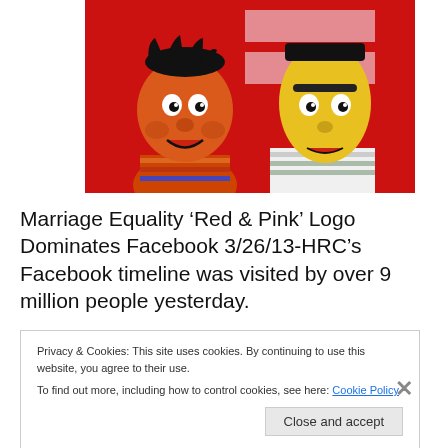[Figure (photo): Bert and Ernie Sesame Street muppets in front of a red background with pink equality sign logo (HRC marriage equality symbol)]
Marriage Equality ‘Red & Pink’ Logo Dominates Facebook 3/26/13-HRC’s Facebook timeline was visited by over 9 million people yesterday.
Privacy & Cookies: This site uses cookies. By continuing to use this website, you agree to their use.
To find out more, including how to control cookies, see here: Cookie Policy